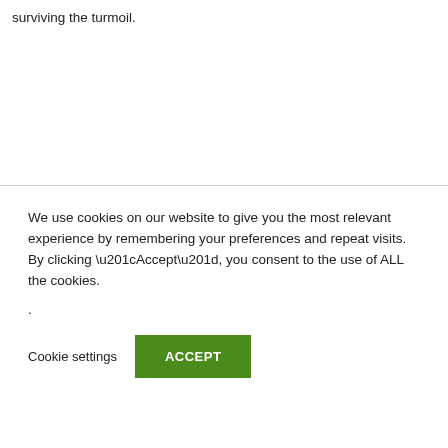surviving the turmoil.
We use cookies on our website to give you the most relevant experience by remembering your preferences and repeat visits. By clicking “Accept”, you consent to the use of ALL the cookies.
.
Cookie settings
ACCEPT